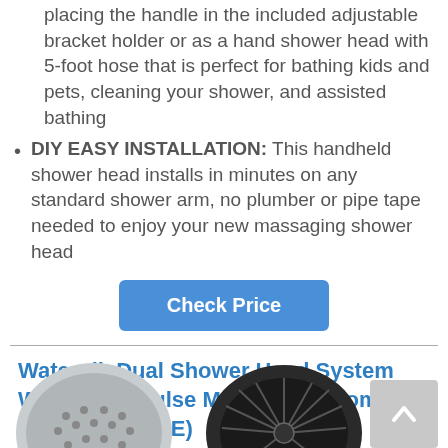placing the handle in the included adjustable bracket holder or as a hand shower head with 5-foot hose that is perfect for bathing kids and pets, cleaning your shower, and assisted bathing
DIY EASY INSTALLATION: This handheld shower head installs in minutes on any standard shower arm, no plumber or pipe tape needed to enjoy your new massaging shower head
Check Price
Waterpik Dual Shower Head System With PowerPulse Massage, Chrome (XHT-333E-763E)
[Figure (photo): Two circular chrome shower head faces shown partially at bottom of page]